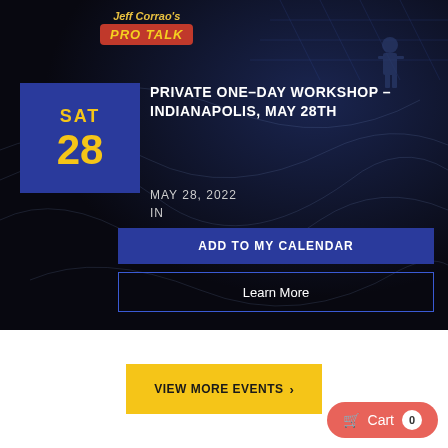[Figure (screenshot): Hero section with dark marble/stage background, Jeff Corrao's Pro Talk logo in upper center, blue calendar tile showing SAT 28, event title, date, location, and two buttons]
PRIVATE ONE-DAY WORKSHOP – INDIANAPOLIS, MAY 28TH
MAY 28, 2022
IN
ADD TO MY CALENDAR
Learn More
VIEW MORE EVENTS
Cart 0